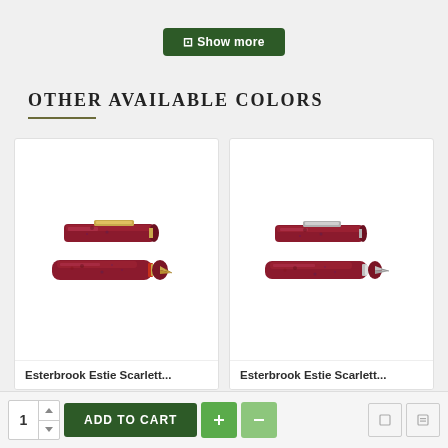Show more
Other available colors
[Figure (photo): Esterbrook Estie Scarlett fountain pen with gold nib, cap removed, red marbled body with gold trim]
Esterbrook Estie Scarlett...
[Figure (photo): Esterbrook Estie Scarlett fountain pen with silver nib, cap removed, red marbled body with silver trim]
Esterbrook Estie Scarlett...
1  ADD TO CART